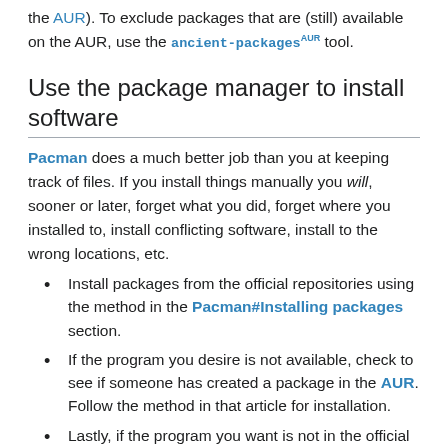the AUR). To exclude packages that are (still) available on the AUR, use the ancient-packages AUR tool.
Use the package manager to install software
Pacman does a much better job than you at keeping track of files. If you install things manually you will, sooner or later, forget what you did, forget where you installed to, install conflicting software, install to the wrong locations, etc.
Install packages from the official repositories using the method in the Pacman#Installing packages section.
If the program you desire is not available, check to see if someone has created a package in the AUR. Follow the method in that article for installation.
Lastly, if the program you want is not in the official repositories or in the AUR, learn how to create a package for it.
To clean up improperly installed files, see Pacman/Tips and tricks#Identify files not owned by any package.